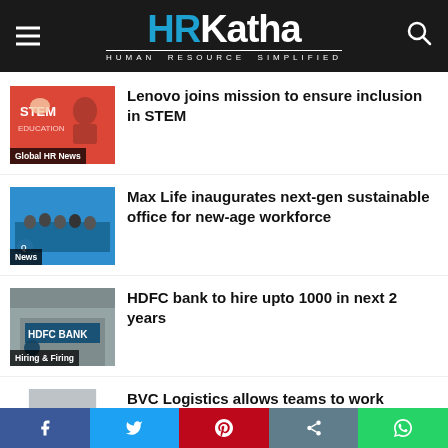HRKatha — HUMAN RESOURCE SIMPLIFIED
Lenovo joins mission to ensure inclusion in STEM
Max Life inaugurates next-gen sustainable office for new-age workforce
HDFC bank to hire upto 1000 in next 2 years
BVC Logistics allows teams to work anytime, anywhere, any day
Facebook | Twitter | Pinterest | Share | WhatsApp